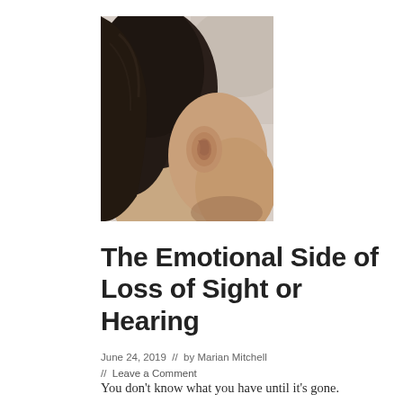[Figure (photo): Close-up profile photo of a person's ear and side of head with dark hair, face slightly downturned, soft-focus background]
The Emotional Side of Loss of Sight or Hearing
June 24, 2019  //  by Marian Mitchell // Leave a Comment
You don't know what you have until it's gone. That saying counts even doubly so when it comes to health. Most of the time f…